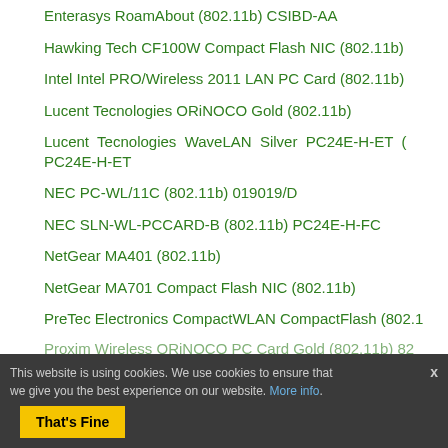Enterasys RoamAbout (802.11b) CSIBD-AA
Hawking Tech CF100W Compact Flash NIC (802.11b)
Intel Intel PRO/Wireless 2011 LAN PC Card (802.11b)
Lucent Tecnologies ORiNOCO Gold (802.11b)
Lucent Tecnologies WaveLAN Silver PC24E-H-ET ( PC24E-H-ET
NEC PC-WL/11C (802.11b) 019019/D
NEC SLN-WL-PCCARD-B (802.11b) PC24E-H-FC
NetGear MA401 (802.11b)
NetGear MA701 Compact Flash NIC (802.11b)
PreTec Electronics CompactWLAN CompactFlash (802.1...
Proxim Wireless ORiNOCO PC Card Gold (802.11b) 82...
Proxim Wireless ORiNOCO PC Card Silver (802.11b) 84...
Proxim Wireless RangeLAN2 74...
This website is using cookies. We use cookies to ensure that we give you the best experience on our website. More info. That's Fine